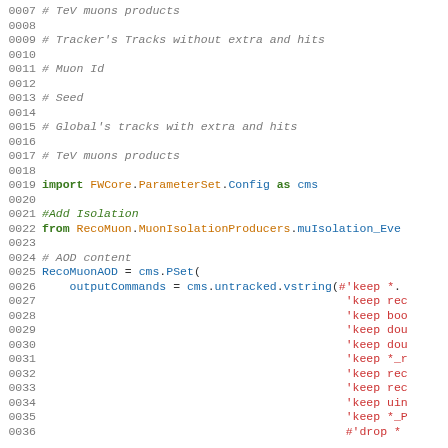Code listing lines 0007-0036: Python configuration script for CMS (Compact Muon Solenoid) detector software. Contains comments about TeV muons products, Tracker's Tracks, Muon Id, Seed, Global's tracks. Imports FWCore.ParameterSet.Config as cms, from RecoMuon.MuonIsolationProducers.muIsolation_Eve. Defines RecoMuonAOD = cms.PSet with outputCommands = cms.untracked.vstring containing multiple 'keep' and 'drop' statements.